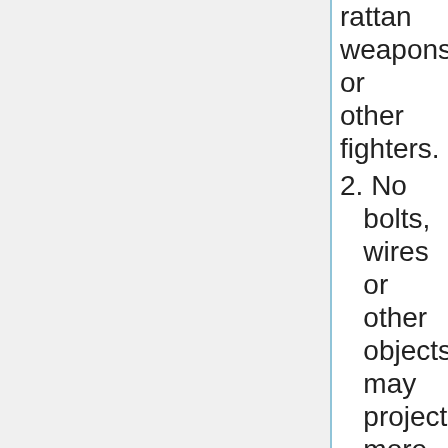rattan weapons or other fighters.
2. No bolts, wires or other objects may project more than 9mm (3/8 inch) from any